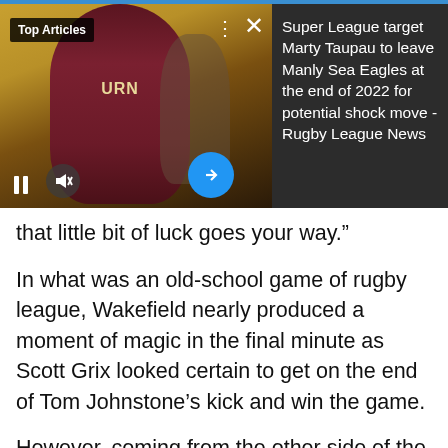[Figure (photo): Top Articles card showing a rugby league player in maroon Manly Sea Eagles jersey, with media controls (pause, mute) at bottom left and a blue arrow button. Dark overlay panel on right side.]
Super League target Marty Taupau to leave Manly Sea Eagles at the end of 2022 for potential shock move - Rugby League News
that little bit of luck goes your way.”
In what was an old-school game of rugby league, Wakefield nearly produced a moment of magic in the final minute as Scott Grix looked certain to get on the end of Tom Johnstone’s kick and win the game.
However, coming from the other side of the field, Hull winger Fetuli Talanoa raced across to beat Trinity’s full-back to the ball and knock it over the